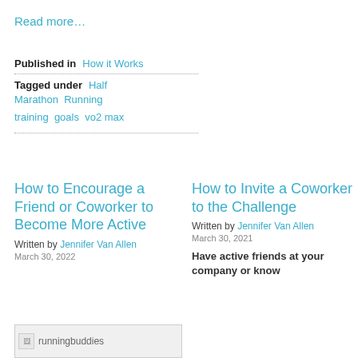Read more...
Published in  How it Works
Tagged under  Half  Marathon  Running  training  goals  vo2 max
How to Encourage a Friend or Coworker to Become More Active
Written by Jennifer Van Allen
March 30, 2022
How to Invite a Coworker to the Challenge
Written by Jennifer Van Allen
March 30, 2021
Have active friends at your company or know
[Figure (photo): runningbuddies image placeholder at bottom left]